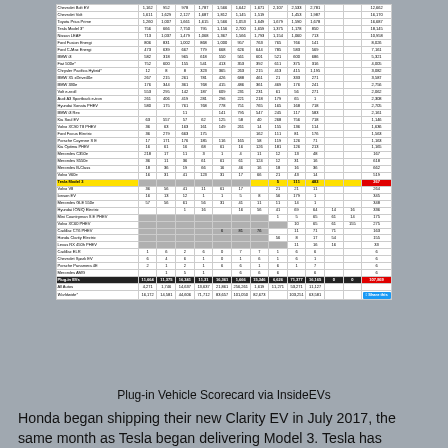[Figure (table-as-image): Plug-in Vehicle Scorecard table from InsideEVs showing monthly EV sales data for various vehicle models. Rows include Chevrolet Bolt EV, Chevrolet Volt, Toyota Prius Prime, Tesla Model 3 (highlighted in yellow), and many others. Columns represent months. Tesla Model 3 row is highlighted yellow with a red total cell. Bottom rows show total Plug-in EVs and Worldwide totals.]
Plug-in Vehicle Scorecard via InsideEVs
Honda began shipping their new Clarity EV in July 2017, the same month as Tesla began delivering Model 3. Tesla has delivered more than twice as many Model 3 units compared to the Clarity EV. Honda is not new to the car game, yet Tesla is outpacing them. I'll let you speculate as to why